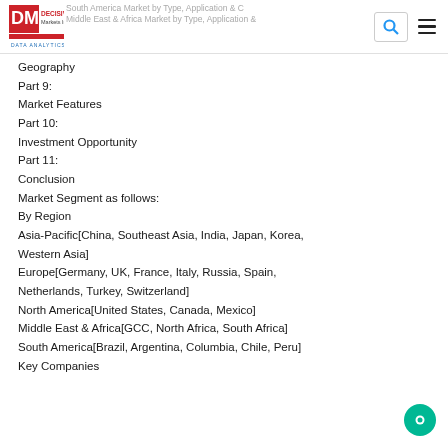South America Market by Type, Application & Geography | Middle East & Africa Market by Type, Application & Geography
Part 9:
Market Features
Part 10:
Investment Opportunity
Part 11:
Conclusion
Market Segment as follows:
By Region
Asia-Pacific[China, Southeast Asia, India, Japan, Korea, Western Asia]
Europe[Germany, UK, France, Italy, Russia, Spain, Netherlands, Turkey, Switzerland]
North America[United States, Canada, Mexico]
Middle East & Africa[GCC, North Africa, South Africa]
South America[Brazil, Argentina, Columbia, Chile, Peru]
Key Companies